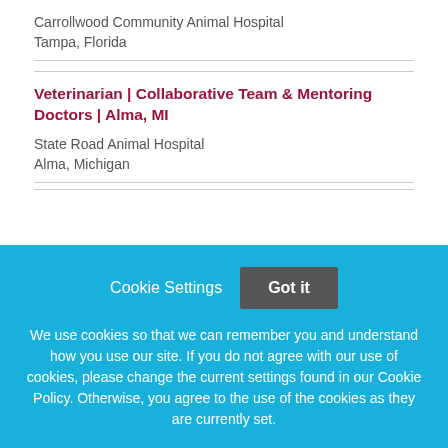Carrollwood Community Animal Hospital
Tampa, Florida
Veterinarian | Collaborative Team & Mentoring Doctors | Alma, MI
State Road Animal Hospital
Alma, Michigan
Cookie Settings   Got it
We use cookies so that we can remember you and understand how you use our site. If you do not agree with our use of cookies, please change the current settings found in our Cookie Policy. Otherwise, you agree to the use of the cookies as they are currently set.